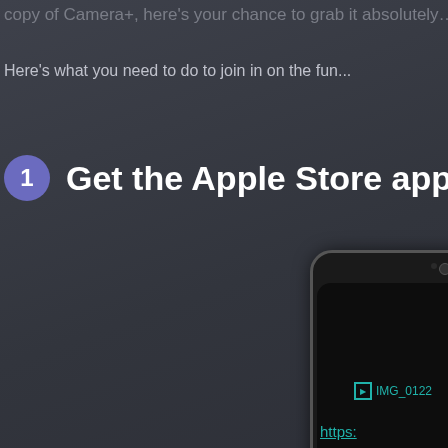copy of Camera+, here's your chance to grab it absolutely…
Here's what you need to do to join in on the fun...
1 Get the Apple Store app
[Figure (photo): iPhone showing Apple Store app on screen, with a broken image placeholder labeled IMG_0122 and a partial link starting with https:]
https: